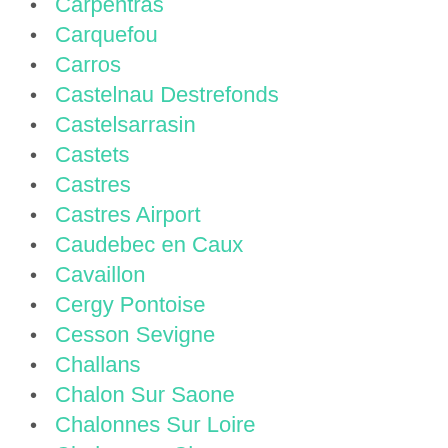Carpentras
Carquefou
Carros
Castelnau Destrefonds
Castelsarrasin
Castets
Castres
Castres Airport
Caudebec en Caux
Cavaillon
Cergy Pontoise
Cesson Sevigne
Challans
Chalon Sur Saone
Chalonnes Sur Loire
Chalons en Champagne